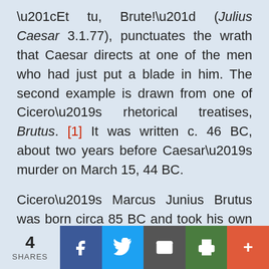“Et tu, Brute!” (Julius Caesar 3.1.77), punctuates the wrath that Caesar directs at one of the men who had just put a blade in him. The second example is drawn from one of Cicero’s rhetorical treatises, Brutus. [1] It was written c. 46 BC, about two years before Caesar’s murder on March 15, 44 BC.
Cicero’s Marcus Junius Brutus was born circa 85 BC and took his own life after the defeat at Philippi in 42 BC. Cicero’s Brutus wishes to hear of others still living while Cicero usually declines to write about living
4 SHARES | Facebook | Twitter | Email | Print | More